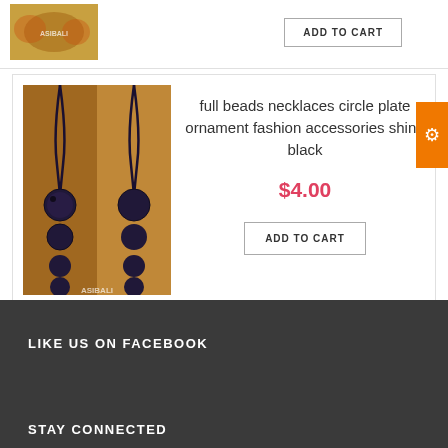[Figure (photo): Partial product image at top showing bracelets/jewelry with ASIBALI watermark, partially cropped]
ADD TO CART
[Figure (photo): Full beads necklaces circle plate ornament fashion accessories in black color, shown on mannequin neck, ASIBALI watermark]
full beads necklaces circle plate ornament fashion accessories shine black
$4.00
ADD TO CART
LIKE US ON FACEBOOK
STAY CONNECTED